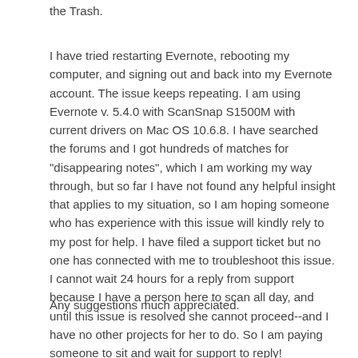the Trash.
I have tried restarting Evernote, rebooting my computer, and signing out and back into my Evernote account. The issue keeps repeating. I am using Evernote v. 5.4.0 with ScanSnap S1500M with current drivers on Mac OS 10.6.8. I have searched the forums and I got hundreds of matches for "disappearing notes", which I am working my way through, but so far I have not found any helpful insight that applies to my situation, so I am hoping someone who has experience with this issue will kindly rely to my post for help. I have filed a support ticket but no one has connected with me to troubleshoot this issue. I cannot wait 24 hours for a reply from support because I have a person here to scan all day, and until this issue is resolved she cannot proceed--and I have no other projects for her to do. So I am paying someone to sit and wait for support to reply!
Any suggestions much appreciated.